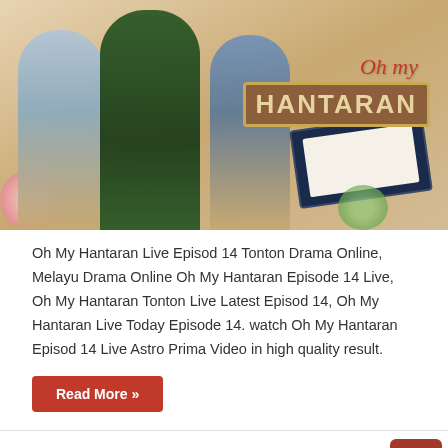[Figure (photo): Drama poster for 'Oh My Hantaran' showing three actors – two men and one woman in the center – against a warm background, with the show's title logo in the top right, and a checkbook prop on the right side, flowers on the left.]
Oh My Hantaran Live Episod 14 Tonton Drama Online, Melayu Drama Online Oh My Hantaran Episode 14 Live, Oh My Hantaran Tonton Live Latest Episod 14, Oh My Hantaran Live Today Episode 14. watch Oh My Hantaran Episod 14 Live Astro Prima Video in high quality result.
Read More »
Oh My Hantaran Episod 13 Full Melayu Drama Tonton